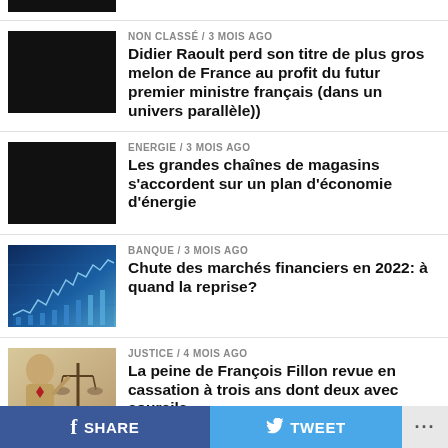[Figure (photo): Partial black image at top]
NON CLASSÉ / 3 mois ago
Didier Raoult perd son titre de plus gros melon de France au profit du futur premier ministre français (dans un univers parallèle))
[Figure (photo): Black image thumbnail]
ENERGIE / 3 mois ago
Les grandes chaînes de magasins s'accordent sur un plan d'économie d'énergie
[Figure (photo): Financial chart with blue tones showing market data]
BANQUE / 3 mois ago
Chute des marchés financiers en 2022: à quand la reprise?
[Figure (photo): Photo of François Fillon with justice scales]
JUSTICE / 4 mois ago
La peine de François Fillon revue en cassation à trois ans dont deux avec sourcils
[Figure (photo): Partial thumbnail at bottom]
NON CLASSÉ / 4 mois ago
f SHARE   TWEET   ...